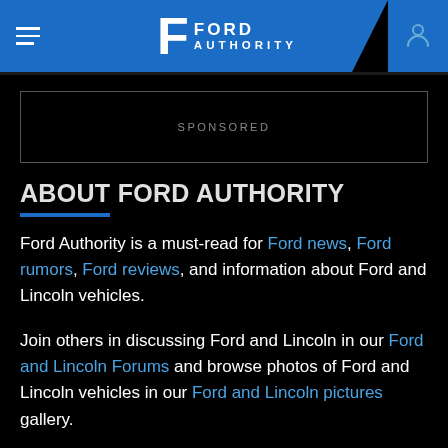Ford Authority
[Figure (other): Sponsored advertisement placeholder box]
ABOUT FORD AUTHORITY
Ford Authority is a must-read for Ford news, Ford rumors, Ford reviews, and information about Ford and Lincoln vehicles.
Join others in discussing Ford and Lincoln in our Ford and Lincoln Forums and browse photos of Ford and Lincoln vehicles in our Ford and Lincoln pictures gallery.
Please note that Ford Authority is a product of Motrolix LLC and is not sponsored, owned, or in any other way